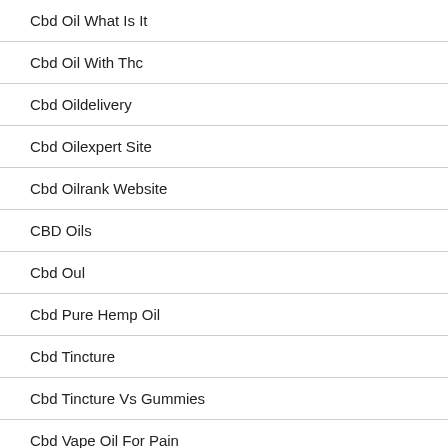Cbd Oil What Is It
Cbd Oil With Thc
Cbd Oildelivery
Cbd Oilexpert Site
Cbd Oilrank Website
CBD Oils
Cbd Oul
Cbd Pure Hemp Oil
Cbd Tincture
Cbd Tincture Vs Gummies
Cbd Vape Oil For Pain